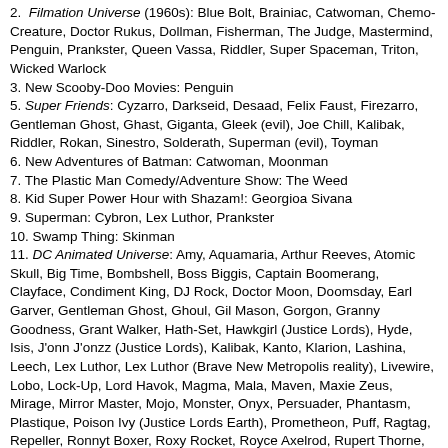2. Filmation Universe (1960s): Blue Bolt, Brainiac, Catwoman, Chemo-Creature, Doctor Rukus, Dollman, Fisherman, The Judge, Mastermind, Penguin, Prankster, Queen Vassa, Riddler, Super Spaceman, Triton, Wicked Warlock
3. New Scooby-Doo Movies: Penguin
5. Super Friends: Cyzarro, Darkseid, Desaad, Felix Faust, Firezarro, Gentleman Ghost, Ghast, Giganta, Gleek (evil), Joe Chill, Kalibak, Riddler, Rokan, Sinestro, Solderath, Superman (evil), Toyman
6. New Adventures of Batman: Catwoman, Moonman
7. The Plastic Man Comedy/Adventure Show: The Weed
8. Kid Super Power Hour with Shazam!: Georgioa Sivana
9. Superman: Cybron, Lex Luthor, Prankster
10. Swamp Thing: Skinman
11. DC Animated Universe: Amy, Aquamaria, Arthur Reeves, Atomic Skull, Big Time, Bombshell, Boss Biggis, Captain Boomerang, Clayface, Condiment King, DJ Rock, Doctor Moon, Doomsday, Earl Garver, Gentleman Ghost, Ghoul, Gil Mason, Gorgon, Granny Goodness, Grant Walker, Hath-Set, Hawkgirl (Justice Lords), Hyde, Isis, J'onn J'onzz (Justice Lords), Kalibak, Kanto, Klarion, Lashina, Leech, Lex Luthor, Lex Luthor (Brave New Metropolis reality), Livewire, Lobo, Lock-Up, Lord Havok, Magma, Mala, Maven, Maxie Zeus, Mirage, Mirror Master, Mojo, Monster, Onyx, Persuader, Phantasm, Plastique, Poison Ivy (Justice Lords Earth), Prometheon, Puff, Ragtag, Repeller, Ronnyt Boxer, Roxy Rocket, Royce Axelrod, Rupert Thorne, Sewer King, Shadow-Thief, She-Bat, Simon Stagg, Sinestro, Sir Swami, Specs, Stalker, Star Sapphire, Stompa, Thomas Blake, Trouble, Tsurki, Vinne "the Shark" Starkey, Volcana, Wade Eiling, Willie Watt, Zander
12. Teen Titans: Atlas, Billy Numerous, Bob, Brother Blood, General Imnmortus, Gizmo, Kid Wykkid, Krall, Malchior, Moroccan Thief, Mother Mae-Eye, Nega-Starfire. Off-World Outlaw, Punk Rocket, Puppet King, Red X, Steamroller, Terror Mind, What...